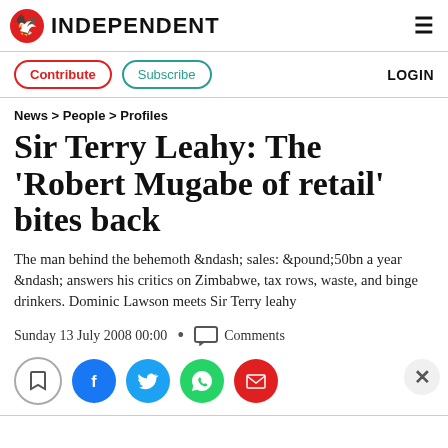INDEPENDENT
Contribute  Subscribe  LOGIN
News > People > Profiles
Sir Terry Leahy: The 'Robert Mugabe of retail' bites back
The man behind the behemoth &ndash; sales: &pound;50bn a year &ndash; answers his critics on Zimbabwe, tax rows, waste, and binge drinkers. Dominic Lawson meets Sir Terry leahy
Sunday 13 July 2008 00:00 • Comments